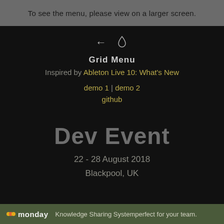To see the menu, please view on a larger screen.
[Figure (illustration): Navigation icons: a left arrow and a water drop / flame icon, rendered in light grey on dark background]
Grid Menu
Inspired by Ableton Live 10: What's New
demo 1 demo 2
github
Dev Event
22 - 28 August 2018
Blackpool, UK
monday Knowledge Sharing Systemperfect for your team.